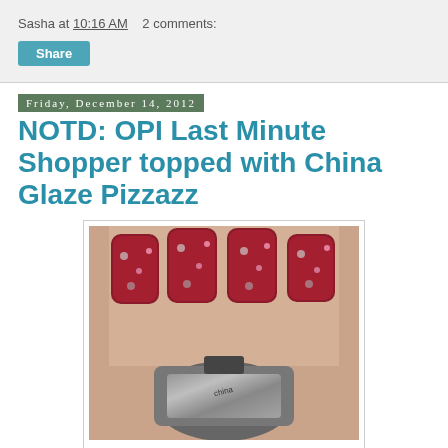Sasha at 10:16 AM   2 comments:
Share
Friday, December 14, 2012
NOTD: OPI Last Minute Shopper topped with China Glaze Pizzazz
[Figure (photo): Close-up photo of hand with red glitter nail polish (OPI Last Minute Shopper topped with China Glaze Pizzazz) holding a bottle of China Glaze nail polish]
OPI Last Minute Shopper (2 coats) from the Ulta Stuff My Stocking mini set topped with